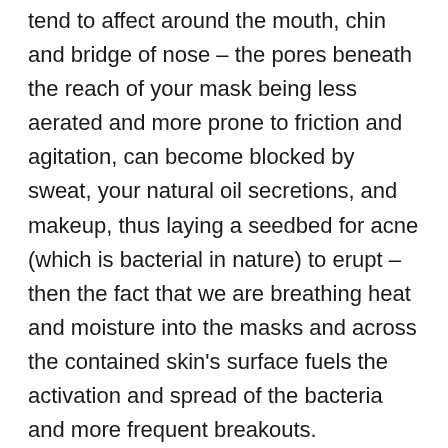tend to affect around the mouth, chin and bridge of nose – the pores beneath the reach of your mask being less aerated and more prone to friction and agitation, can become blocked by sweat, your natural oil secretions, and makeup, thus laying a seedbed for acne (which is bacterial in nature) to erupt – then the fact that we are breathing heat and moisture into the masks and across the contained skin's surface fuels the activation and spread of the bacteria and more frequent breakouts.
There are a couple of steps we can take
Mask etiquette. Masks are essential to our fight against covid, it's a problem we can't ditch so quick but some mask etiquette will go a long way to prevention and faster recovery – a fresh mask each day or several changes over the course of a day will help, after each use dispose of